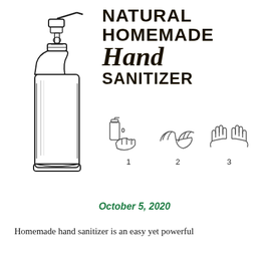[Figure (illustration): Line drawing illustration of a pump-top hand sanitizer bottle]
NATURAL HOMEMADE Hand SANITIZER
[Figure (illustration): Three step hand-washing/sanitizing icons numbered 1, 2, 3: dispensing sanitizer, rubbing hands together, spreading over hands]
October 5, 2020
Homemade hand sanitizer is an easy yet powerful